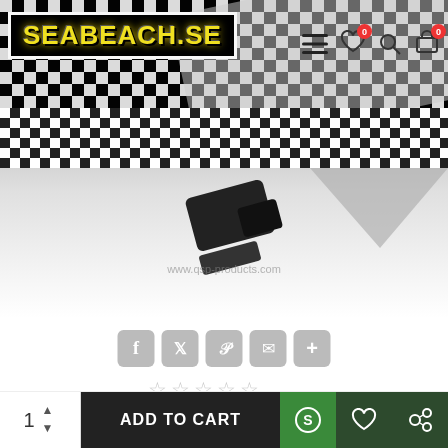SEABEACH.SE
[Figure (photo): Product image area with checkered flag background and black automotive racing arm rest product]
[Figure (infographic): Social share buttons: Facebook, Twitter, Pinterest, Email, More]
★★★★★ (empty stars) Based on 0 reviews. - Write a review
Stock: 2-3 DAYS
Model: QSARM-BLACK
Weight: 0.22kg
SKU: QSARM-BLACK
[Figure (logo): QSP brand logo - yellow text on black rounded rectangle background]
QSP
1  ADD TO CART